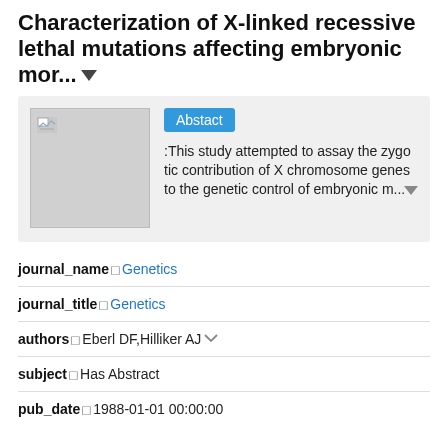Characterization of X-linked recessive lethal mutations affecting embryonic mor...
Abstact
:This study attempted to assay the zygotic contribution of X chromosome genes to the genetic control of embryonic m...
journal_name	Genetics
journal_title	Genetics
authors	Eberl DF,Hilliker AJ
subject	Has Abstract
pub_date	1988-01-01 00:00:00